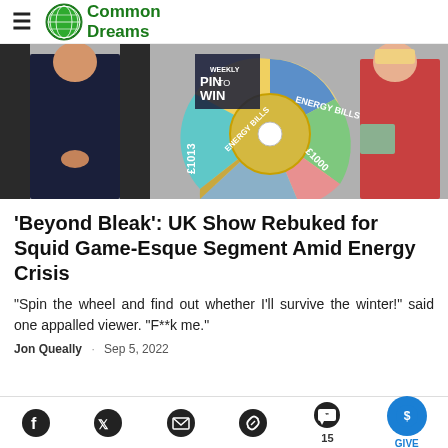Common Dreams
[Figure (photo): Two TV show hosts standing beside a colorful prize wheel with segments labeled 'ENERGY BILLS', '£1000', and other prizes. The show is called 'PIN TO WIN'. A man in a dark shirt stands on the left; a woman in a red dress stands on the right holding a box.]
'Beyond Bleak': UK Show Rebuked for Squid Game-Esque Segment Amid Energy Crisis
"Spin the wheel and find out whether I'll survive the winter!" said one appalled viewer. "F**k me."
Jon Queally · Sep 5, 2022